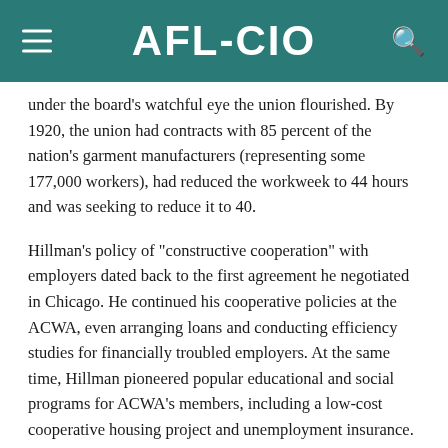AFL-CIO
under the board's watchful eye the union flourished. By 1920, the union had contracts with 85 percent of the nation's garment manufacturers (representing some 177,000 workers), had reduced the workweek to 44 hours and was seeking to reduce it to 40.
Hillman's policy of "constructive cooperation" with employers dated back to the first agreement he negotiated in Chicago. He continued his cooperative policies at the ACWA, even arranging loans and conducting efficiency studies for financially troubled employers. At the same time, Hillman pioneered popular educational and social programs for ACWA's members, including a low-cost cooperative housing project and unemployment insurance. In the 1920s, Hillman's "new unionism" was labor's best-known alternative to the "welfare capitalism" that many large corporations were adopting to enhance productivity